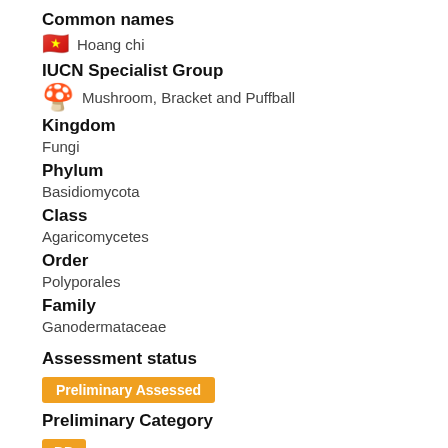Common names
🇻🇳 Hoang chi
IUCN Specialist Group
🍄 Mushroom, Bracket and Puffball
Kingdom
Fungi
Phylum
Basidiomycota
Class
Agaricomycetes
Order
Polyporales
Family
Ganodermataceae
Assessment status
Preliminary Assessed
Preliminary Category
DD
Proposed by
Hoang ND Pham  about a year ago